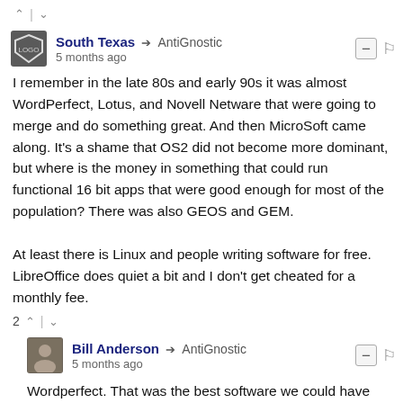^ | v (vote controls)
South Texas → AntiGnostic
5 months ago
I remember in the late 80s and early 90s it was almost WordPerfect, Lotus, and Novell Netware that were going to merge and do something great. And then MicroSoft came along. It's a shame that OS2 did not become more dominant, but where is the money in something that could run functional 16 bit apps that were good enough for most of the population? There was also GEOS and GEM.

At least there is Linux and people writing software for free. LibreOffice does quiet a bit and I don't get cheated for a monthly fee.
2 ^ | v (vote controls)
Bill Anderson → AntiGnostic
5 months ago
Wordperfect. That was the best software we could have hoped for.